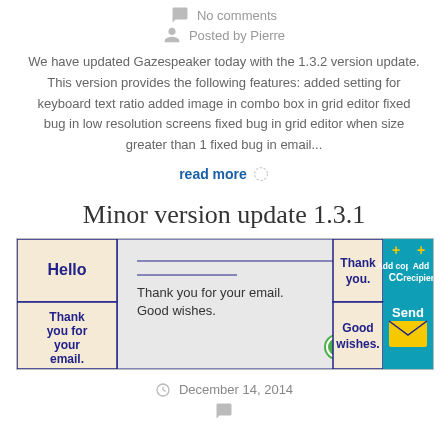No comments
Posted by Pierre
We have updated Gazespeaker today with the 1.3.2 version update. This version provides the following features: added setting for keyboard text ratio added image in combo box in grid editor fixed bug in low resolution screens fixed bug in grid editor when size greater than 1 fixed bug in email...
read more
Minor version update 1.3.1
[Figure (screenshot): Screenshot of Gazespeaker email application showing grid with Hello, Thank you for your email, Good wishes text and Send button interface]
December 14, 2014
No comments (partial)